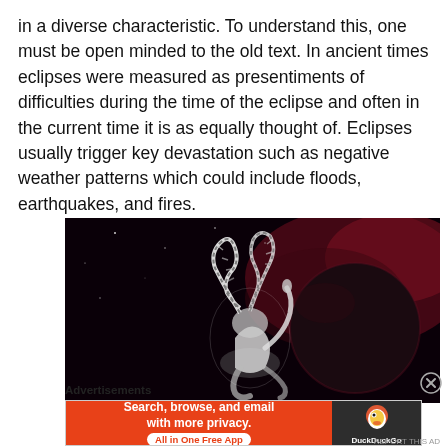in a diverse characteristic. To understand this, one must be open minded to the old text. In ancient times eclipses were measured as presentiments of difficulties during the time of the eclipse and often in the current time it is as equally thought of. Eclipses usually trigger key devastation such as negative weather patterns which could include floods, earthquakes, and fires.
[Figure (illustration): Digital artwork showing a stylized goat or capricorn skeleton/figure glowing white against a dark space background with nebula/galaxy imagery and a large dark planet or moon.]
Advertisements
[Figure (screenshot): DuckDuckGo advertisement banner: orange section with text 'Search, browse, and email with more privacy. All in One Free App' and dark section with DuckDuckGo duck logo and brand name.]